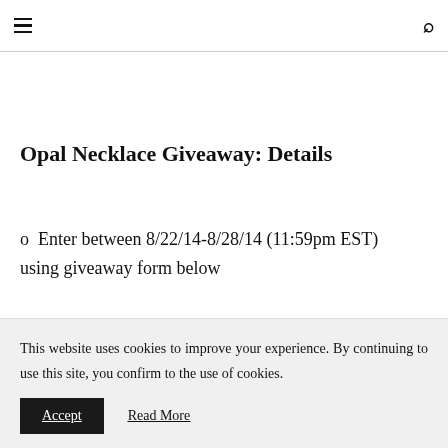≡ 🔍
Opal Necklace Giveaway: Details
o  Enter between 8/22/14-8/28/14 (11:59pm EST) using giveaway form below
This website uses cookies to improve your experience. By continuing to use this site, you confirm to the use of cookies. Accept  Read More